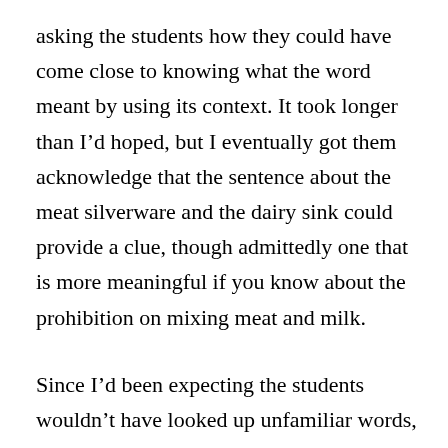asking the students how they could have come close to knowing what the word meant by using its context. It took longer than I'd hoped, but I eventually got them acknowledge that the sentence about the meat silverware and the dairy sink could provide a clue, though admittedly one that is more meaningful if you know about the prohibition on mixing meat and milk.

Since I'd been expecting the students wouldn't have looked up unfamiliar words, I had already prepared the next exercise. I had the students take out their phones and look up six words from the story. One side of the room took narishkeit, sheitel, and macher,